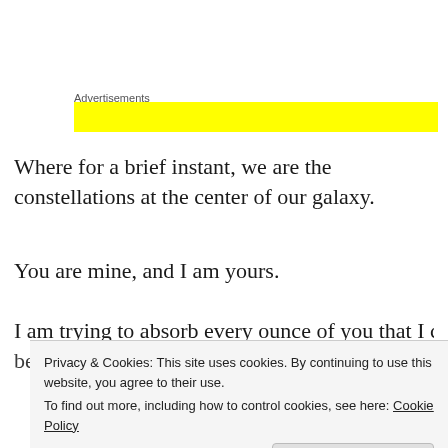Advertisements
[Figure (other): Yellow advertisement banner placeholder]
Where for a brief instant, we are the constellations at the center of our galaxy.
You are mine, and I am yours.
I am trying to absorb every ounce of you that I can because, deep down, I know I won't be able to take you
Privacy & Cookies: This site uses cookies. By continuing to use this website, you agree to their use.
To find out more, including how to control cookies, see here: Cookie Policy